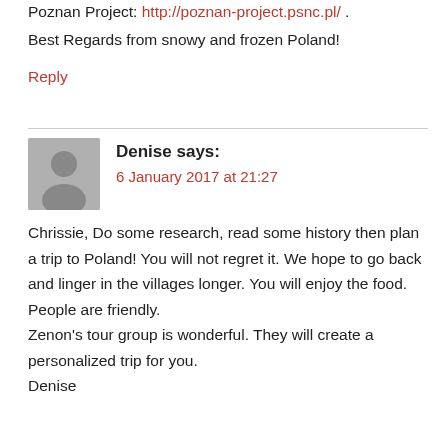Poznan Project: http://poznan-project.psnc.pl/ .
Best Regards from snowy and frozen Poland!
Reply
Denise says:
6 January 2017 at 21:27
Chrissie, Do some research, read some history then plan a trip to Poland! You will not regret it. We hope to go back and linger in the villages longer. You will enjoy the food. People are friendly.
Zenon's tour group is wonderful. They will create a personalized trip for you.
Denise